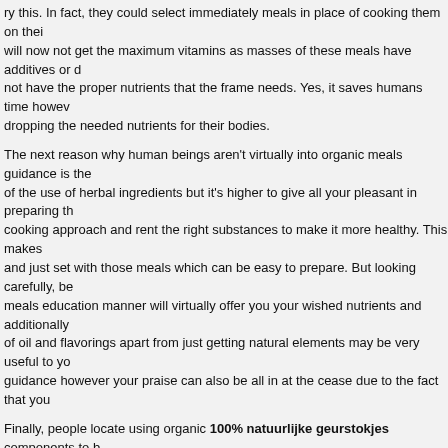ry this. In fact, they could select immediately meals in place of cooking them on the... will now not get the maximum vitamins as masses of these meals have additives or d... not have the proper nutrients that the frame needs. Yes, it saves humans time howev... dropping the needed nutrients for their bodies.
The next reason why human beings aren't virtually into organic meals guidance is the... of the use of herbal ingredients but it's higher to give all your pleasant in preparing th... cooking approach and rent the right substances to make it more healthy. This makes... and just set with those meals which can be easy to prepare. But looking carefully, be... meals education manner will virtually offer you your wished nutrients and additionally... of oil and flavorings apart from just getting natural elements may be very useful to yo... guidance however your praise can also be all in at the cease due to the fact that you...
Finally, people locate using organic 100% natuurlijke geurstokjes components to b... the market. Basically, natural and sparkling meals may cost more than because of ho... expenses can be incurred due to different ingredients on the way to be used for the g... few cash nowadays, you will discover it to be nonetheless more less expensive than... medical conditions which could were averted with proper food regimen. Look at thos... useful it is able to be for you now not most effective in phrases of health but additiona...
Overall, these challenges are confronted through folks that want to be healthy. A little... direction of the future will help human beings in eating natural meals than selecting in... from speedy food chains. Start consuming healthy nowadays and you are confident t...
Contact: Yours Naturally